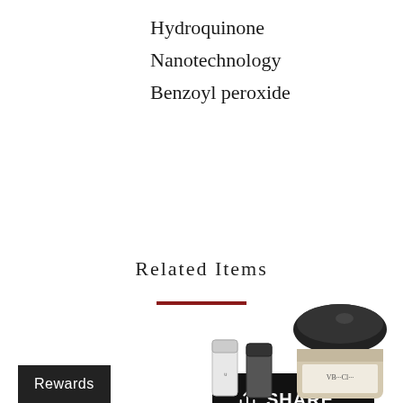Hydroquinone
Nanotechnology
Benzoyl peroxide
[Figure (other): Black SHARE button with share icon]
Related Items
[Figure (other): Dark red horizontal divider line]
[Figure (photo): Two small skincare product tubes side by side]
[Figure (photo): Skincare cream jar with black lid]
[Figure (other): Black Rewards button in bottom left corner]